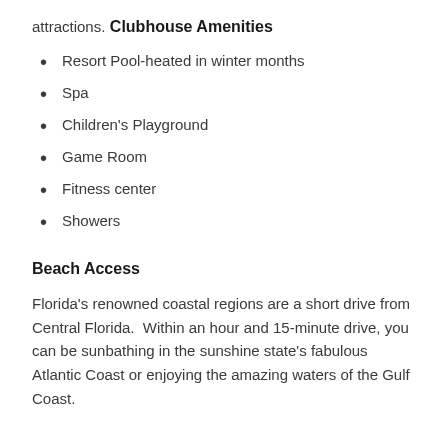attractions.
Clubhouse Amenities
Resort Pool-heated in winter months
Spa
Children's Playground
Game Room
Fitness center
Showers
Beach Access
Florida's renowned coastal regions are a short drive from Central Florida.  Within an hour and 15-minute drive, you can be sunbathing in the sunshine state's fabulous Atlantic Coast or enjoying the amazing waters of the Gulf Coast.